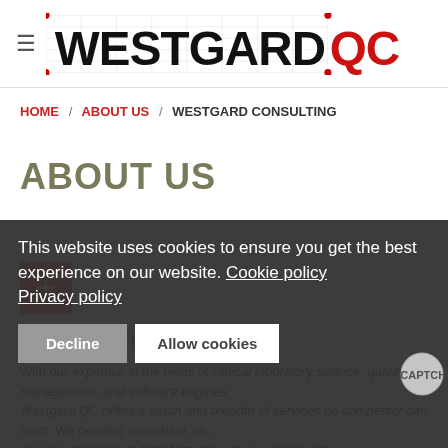≡ WESTGARD QC (logo)
HOME / ABOUT US / WESTGARD CONSULTING
ABOUT US
[Figure (other): Orange/red plus (+) button icon]
Westgard Consulting
With our expertise in the fields of clinical laboratory science, quality management, and software engineer Westgard QC offers a depth and breadth of services no competitor can match. We develop innovative, cli specific strategies to transform the way our clients get
This website uses cookies to ensure you get the best experience on our website. Cookie policy Privacy policy
Decline | Allow cookies